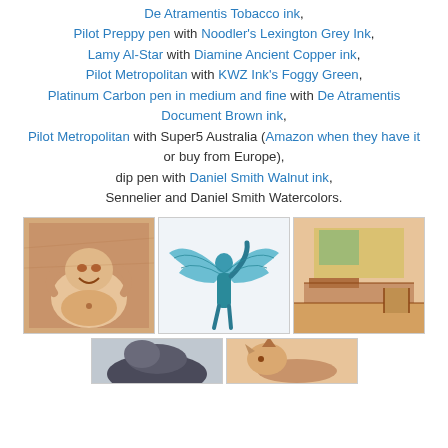De Atramentis Tobacco ink, Pilot Preppy pen with Noodler's Lexington Grey Ink, Lamy Al-Star with Diamine Ancient Copper ink, Pilot Metropolitan with KWZ Ink's Foggy Green, Platinum Carbon pen in medium and fine with De Atramentis Document Brown ink, Pilot Metropolitan with Super5 Australia (Amazon when they have it or buy from Europe), dip pen with Daniel Smith Walnut ink, Sennelier and Daniel Smith Watercolors.
[Figure (illustration): Three artwork images in a row: left shows a laughing Buddha figure drawn in brown ink wash, center shows a winged figure (angel/Icarus) in blue-teal ink, right shows a bedroom interior scene in brown wash with yellow/green highlights.]
[Figure (illustration): Two partial artwork images at bottom: left shows a dark animal silhouette sketch, right shows a figure with horns/unicorn in brown ink.]